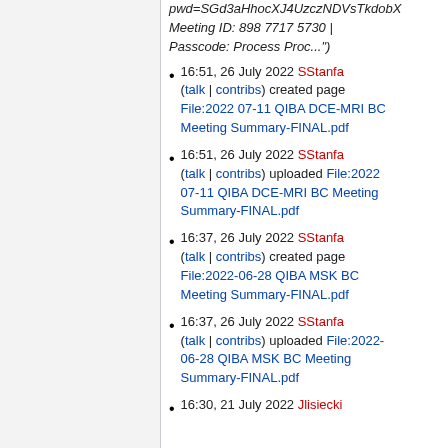pwd=SGd3aHhocXJ4UzczNDVsTkdobX... Meeting ID: 898 7717 5730 | Passcode: Process Proc...")
16:51, 26 July 2022 SStanfa (talk | contribs) created page File:2022 07-11 QIBA DCE-MRI BC Meeting Summary-FINAL.pdf
16:51, 26 July 2022 SStanfa (talk | contribs) uploaded File:2022 07-11 QIBA DCE-MRI BC Meeting Summary-FINAL.pdf
16:37, 26 July 2022 SStanfa (talk | contribs) created page File:2022-06-28 QIBA MSK BC Meeting Summary-FINAL.pdf
16:37, 26 July 2022 SStanfa (talk | contribs) uploaded File:2022-06-28 QIBA MSK BC Meeting Summary-FINAL.pdf
16:30, 21 July 2022 Jlisiecki